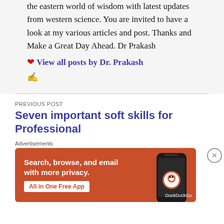the eastern world of wisdom with latest updates from western science. You are invited to have a look at my various articles and post. Thanks and Make a Great Day Ahead. Dr Prakash
❤ View all posts by Dr. Prakash ✍
PREVIOUS POST
Seven important soft skills for Professional
[Figure (photo): DuckDuckGo advertisement banner with orange background showing 'Search, browse, and email with more privacy. All in One Free App' with a smartphone image and DuckDuckGo logo]